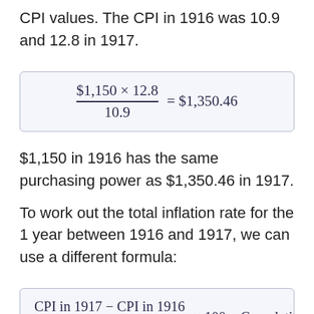CPI values. The CPI in 1916 was 10.9 and 12.8 in 1917.
$1,150 in 1916 has the same purchasing power as $1,350.46 in 1917.
To work out the total inflation rate for the 1 year between 1916 and 1917, we can use a different formula:
Again, we can replace those variables with the correct Consumer Price Index values to work out